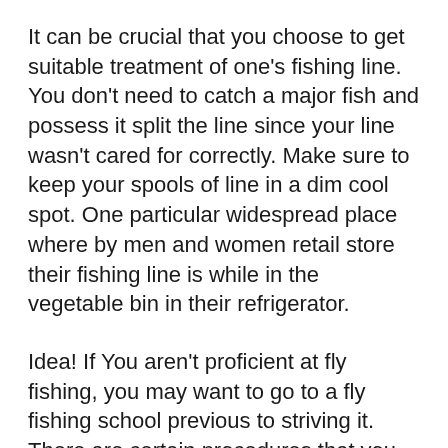It can be crucial that you choose to get suitable treatment of one's fishing line. You don't need to catch a major fish and possess it split the line since your line wasn't cared for correctly. Make sure to keep your spools of line in a dim cool spot. One particular widespread place where by men and women retail store their fishing line is while in the vegetable bin in their refrigerator.
Idea! If You aren't proficient at fly fishing, you may want to go to a fly fishing school previous to striving it. There are certain procedures that you have to know prior to fly fishing so you usually do not waste your time endeavoring to determine it out all by yourself.